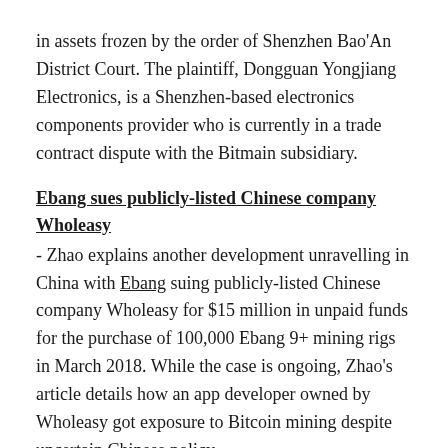in assets frozen by the order of Shenzhen Bao'An District Court. The plaintiff, Dongguan Yongjiang Electronics, is a Shenzhen-based electronics components provider who is currently in a trade contract dispute with the Bitmain subsidiary.
Ebang sues publicly-listed Chinese company Wholeasy
- Zhao explains another development unravelling in China with Ebang suing publicly-listed Chinese company Wholeasy for $15 million in unpaid funds for the purchase of 100,000 Ebang 9+ mining rigs in March 2018. While the case is ongoing, Zhao's article details how an app developer owned by Wholeasy got exposure to Bitcoin mining despite uncertain Chinese policy.